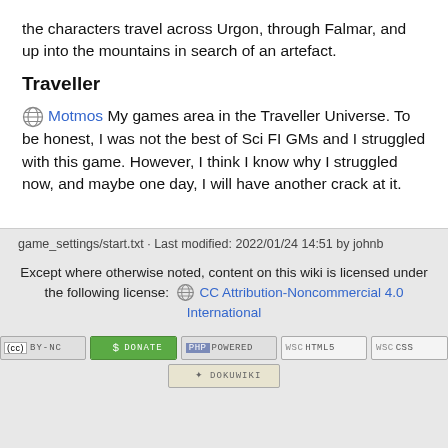the characters travel across Urgon, through Falmar, and up into the mountains in search of an artefact.
Traveller
Motmos My games area in the Traveller Universe. To be honest, I was not the best of Sci FI GMs and I struggled with this game. However, I think I know why I struggled now, and maybe one day, I will have another crack at it.
game_settings/start.txt · Last modified: 2022/01/24 14:51 by johnb
Except where otherwise noted, content on this wiki is licensed under the following license: CC Attribution-Noncommercial 4.0 International